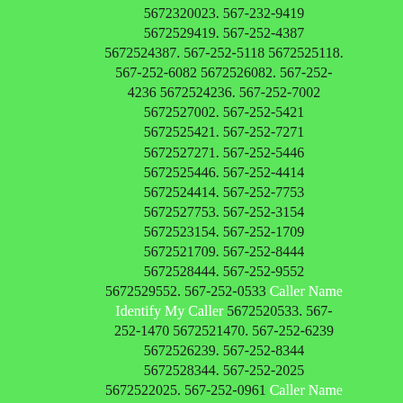5672320023. 567-232-9419 5672529419. 567-252-4387 5672524387. 567-252-5118 5672525118. 567-252-6082 5672526082. 567-252-4236 5672524236. 567-252-7002 5672527002. 567-252-5421 5672525421. 567-252-7271 5672527271. 567-252-5446 5672525446. 567-252-4414 5672524414. 567-252-7753 5672527753. 567-252-3154 5672523154. 567-252-1709 5672521709. 567-252-8444 5672528444. 567-252-9552 5672529552. 567-252-0533 Caller Name Identify My Caller 5672520533. 567-252-1470 5672521470. 567-252-6239 5672526239. 567-252-8344 5672528344. 567-252-2025 5672522025. 567-252-0961 Caller Name Identify My Caller 5672520961. 567-252-1253 5672521253. 567-252-1626 5672521626. 567-252-7293 5672527293. 567-252-4818 5672524818. 567-252-1104 5672521104. 567-252-0015 5672520015. 567-252-